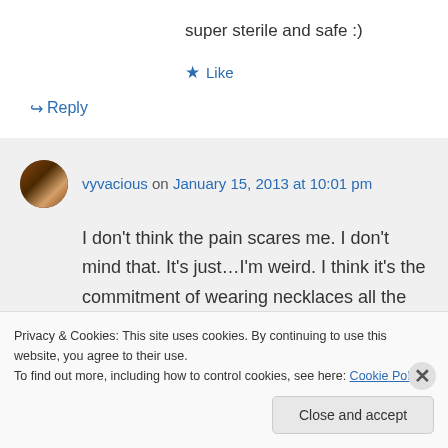super sterile and safe :)
★ Like
↪ Reply
vyvacious on January 15, 2013 at 10:01 pm
I don't think the pain scares me. I don't mind that. It's just…I'm weird. I think it's the commitment of wearing necklaces all the time. I just feel like I'll have to change my
Privacy & Cookies: This site uses cookies. By continuing to use this website, you agree to their use. To find out more, including how to control cookies, see here: Cookie Policy